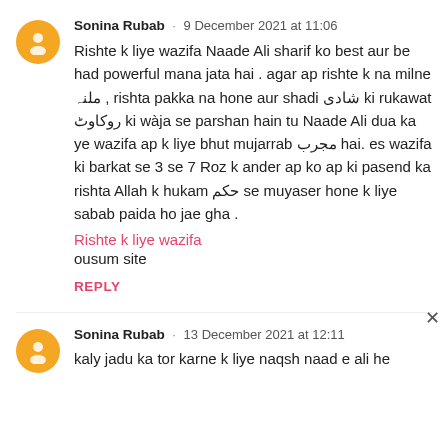Sonina Rubab · 9 December 2021 at 11:06
Rishte k liye wazifa Naade Ali sharif ko best aur be had powerful mana jata hai . agar ap rishte k na milne ملنہ , rishta pakka na hone aur shadi شادی ki rukawat روکاوٹ ki wàja se parshan hain tu Naade Ali dua ka ye wazifa ap k liye bhut mujarrab مجرب hai. es wazifa ki barkat se 3 se 7 Roz k ander ap ko ap ki pasend ka rishta Allah k hukam حکم se muyaser hone k liye sabab paida ho jae gha .
Rishte k liye wazifa
ousum site
REPLY
Sonina Rubab · 13 December 2021 at 12:11
kaly jadu ka tor karne k liye naqsh naad e ali he